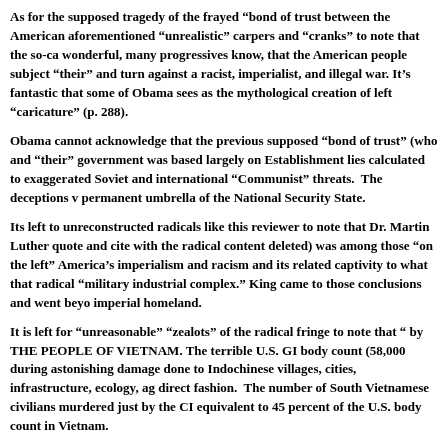As for the supposed tragedy of the frayed “bond of trust between the American aforementioned “unrealistic” carpers and “cranks” to note that the so-ca wonderful, many progressives know, that the American people subject “their” and turn against a racist, imperialist, and illegal war. It’s fantastic that some of Obama sees as the mythological creation of left “caricature” (p. 288).
Obama cannot acknowledge that the previous supposed “bond of trust” (who and “their” government was based largely on Establishment lies calculated to exaggerated Soviet and international “Communist” threats. The deceptions v permanent umbrella of the National Security State.
Its left to unreconstructed radicals like this reviewer to note that Dr. Martin Luther quote and cite with the radical content deleted) was among those “on the left” America’s imperialism and racism and its related captivity to what that radical “military industrial complex.” King came to those conclusions and went beyo imperial homeland.
It is left for “unreasonable” “zealotsâ€ of the radical fringe to note that “ by THE PEOPLE OF VIETNAM. The terrible U.S. GI body count (58,000 during astonishing damage done to Indochinese villages, cities, infrastructure, ecology, ag direct fashion. The number of South Vietnamese civilians murdered just by the CI equivalent to 45 percent of the U.S. body count in Vietnam.